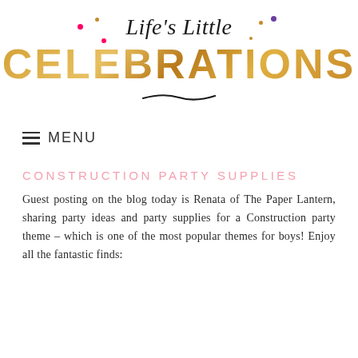[Figure (logo): Life's Little CELEBRATIONS blog logo. 'Life's Little' in black italic script font with decorative colorful dots around it. 'CELEBRATIONS' in large bold gold/bronze decorative font with geometric patterns inside the letters. A hand-drawn swoosh underline beneath.]
☰ MENU
CONSTRUCTION PARTY SUPPLIES
Guest posting on the blog today is Renata of The Paper Lantern, sharing party ideas and party supplies for a Construction party theme – which is one of the most popular themes for boys! Enjoy all the fantastic finds: